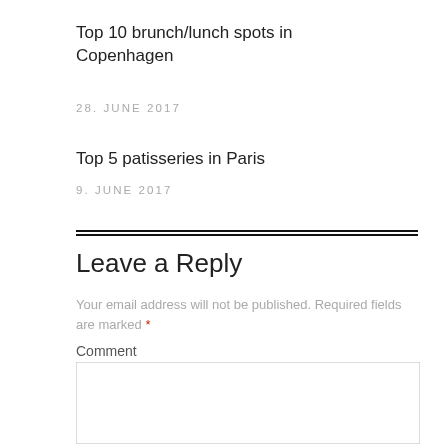Top 10 brunch/lunch spots in Copenhagen
28. JUNE 2017
Top 5 patisseries in Paris
9. JUNE 2017
Leave a Reply
Your email address will not be published. Required fields are marked *
Comment